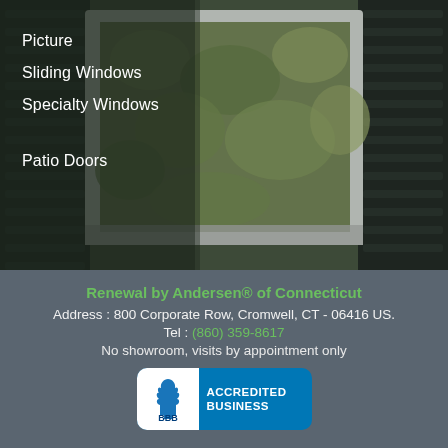[Figure (photo): Blurred background photo of a white-framed window with green foliage visible through the glass, dark shutters on sides, with a navigation menu overlay on the left side.]
Picture
Sliding Windows
Specialty Windows
Patio Doors
Renewal by Andersen® of Connecticut
Address : 800 Corporate Row, Cromwell, CT - 06416 US.
Tel : (860) 359-8617
No showroom, visits by appointment only
[Figure (logo): BBB Accredited Business badge with white BBB logo on blue background.]